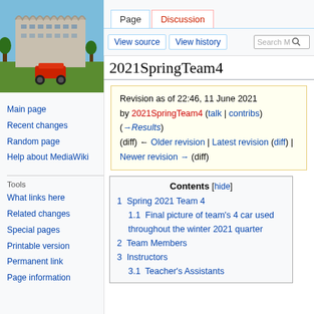Log in
[Figure (photo): Photo of a building (Geisel Library, UCSD) with a wavy concrete structure and blue sky, with an RC car in the foreground on grass]
Main page
Recent changes
Random page
Help about MediaWiki
Tools
What links here
Related changes
Special pages
Printable version
Permanent link
Page information
2021SpringTeam4
Revision as of 22:46, 11 June 2021 by 2021SpringTeam4 (talk | contribs) (→Results)
(diff) ← Older revision | Latest revision (diff) | Newer revision → (diff)
| Contents [hide] |
| --- |
| 1  Spring 2021 Team 4 |
| 1.1  Final picture of team's 4 car used throughout the winter 2021 quarter |
| 2  Team Members |
| 3  Instructors |
| 3.1  Teacher's Assistants |